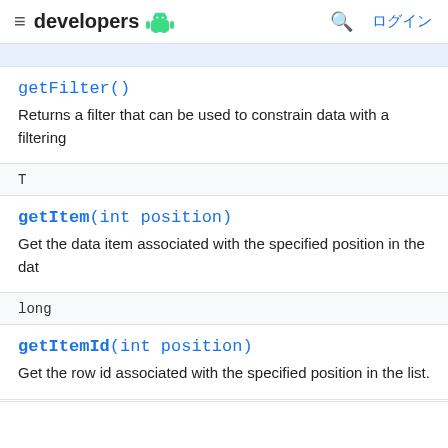≡ developers 🤖  🔍 ログイン
getFilter()
Returns a filter that can be used to constrain data with a filtering
T
getItem(int position)
Get the data item associated with the specified position in the dat
long
getItemId(int position)
Get the row id associated with the specified position in the list.